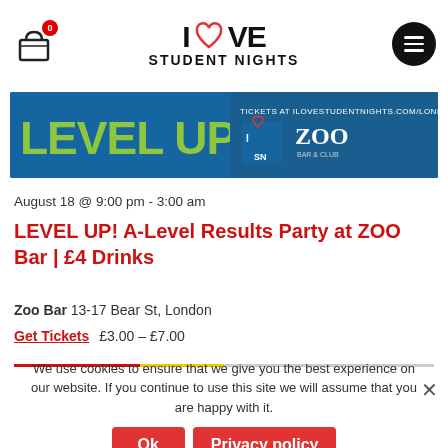I LOVE STUDENT NIGHTS — navigation header with basket (0) and menu icons
[Figure (photo): Event banner for LEVEL UP with green text on blue background, logos for I love SN and ZOO bar, text: TICKETS AT ILOVESTUDENTNIGHTS.COM/LONDON]
August 18 @ 9:00 pm - 3:00 am
LEVEL UP! A-Level Results Party at ZOO Bar | £4 Drinks
Zoo Bar 13-17 Bear St, London
Get Tickets   £3.00 – £7.00
We use cookies to ensure that we give you the best experience on our website. If you continue to use this site we will assume that you are happy with it.